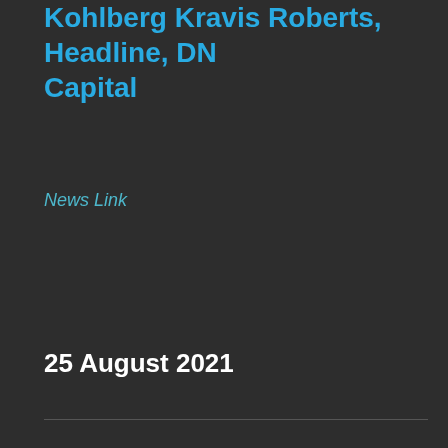Kohlberg Kravis Roberts, Headline, DN Capital
News Link
25 August 2021